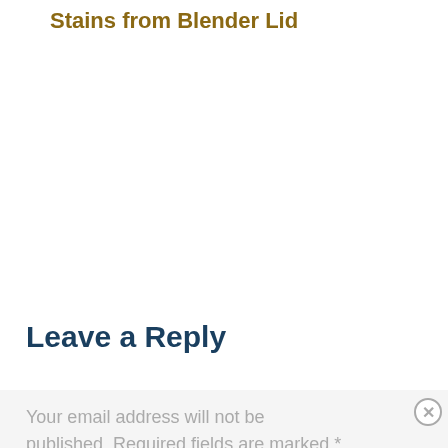Stains from Blender Lid
Leave a Reply
Your email address will not be published. Required fields are marked *